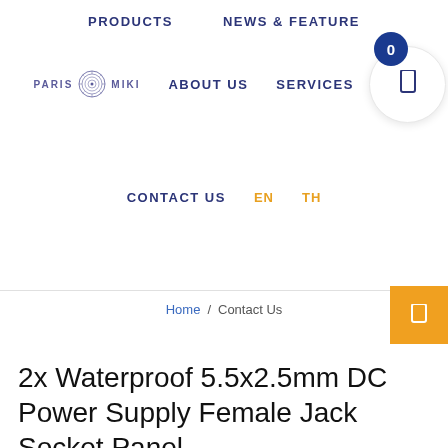PRODUCTS  NEWS & FEATURE
PARIS MIKI  ABOUT US  SERVICES  BRA...
CONTACT US  EN  TH
Home / Contact Us
2x Waterproof 5.5x2.5mm DC Power Supply Female Jack Socket Panel